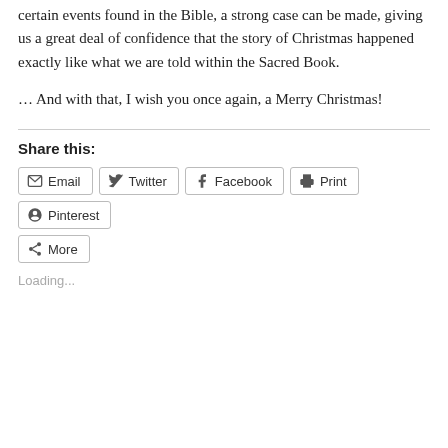certain events found in the Bible, a strong case can be made, giving us a great deal of confidence that the story of Christmas happened exactly like what we are told within the Sacred Book.
… And with that, I wish you once again, a Merry Christmas!
Share this:
Email  Twitter  Facebook  Print  Pinterest  More
Loading...